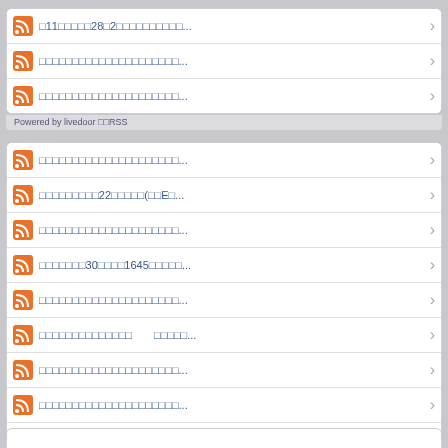□11□□□□□28□2□□□□□□□□□□...
□□□□□□□□□□□□□□□□□□□□□...
□□□□□□□□□□□□□□□□□□□□□...
Powered by livedoor □□RSS
□□□□□□□□□□□□□□□□□□□□□...
□□□□□□□□□22□□□□□(□□E□...
□□□□□□□□□□□□□□□□□□□□□...
□□□□□□□30□□□□1645□□□□□...
□□□□□□□□□□□□□□□□□□□□□...
□□□□□□□□□□□□□□　　□□□□□...
□□□□□□□□□□□□□□□□□□□□□...
□□□□□□□□□□□□□□□□□□□□□...
□11□□□□□28□2□□□□□□□□□□...
□□□□□□□□□□□□□□□□□□□□□...
Powered by livedoor □□RSS